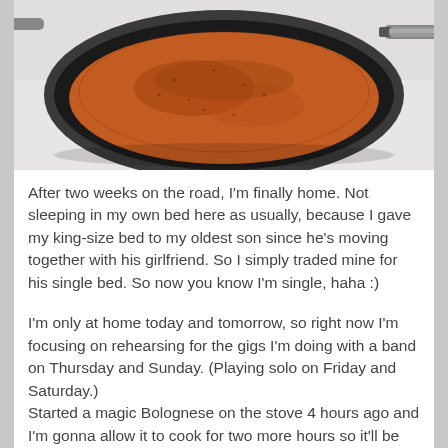[Figure (photo): Photo of a frying pan with tomato/bolognese sauce cooking on a stove, viewed from above. The pan is dark/black, and there is a white surface visible.]
After two weeks on the road, I'm finally home. Not sleeping in my own bed here as usually, because I gave my king-size bed to my oldest son since he's moving together with his girlfriend. So I simply traded mine for his single bed. So now you know I'm single, haha :)
I'm only at home today and tomorrow, so right now I'm focusing on rehearsing for the gigs I'm doing with a band on Thursday and Sunday. (Playing solo on Friday and Saturday.) Started a magic Bolognese on the stove 4 hours ago and I'm gonna allow it to cook for two more hours so it'll be smooth as silk when my son and girlfriend are